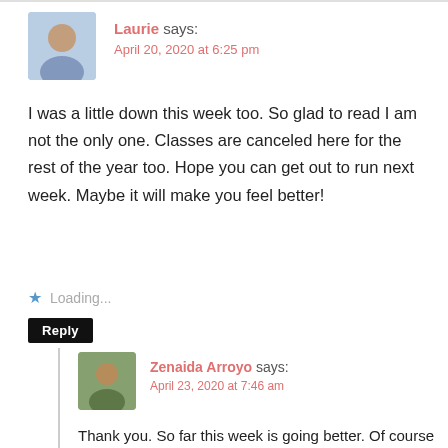Laurie says: April 20, 2020 at 6:25 pm
I was a little down this week too. So glad to read I am not the only one. Classes are canceled here for the rest of the year too. Hope you can get out to run next week. Maybe it will make you feel better!
Loading...
Reply
Zenaida Arroyo says: April 23, 2020 at 7:46 am
Thank you. So far this week is going better. Of course the weather has a lot to do with it. 🙂
Loading...
Reply